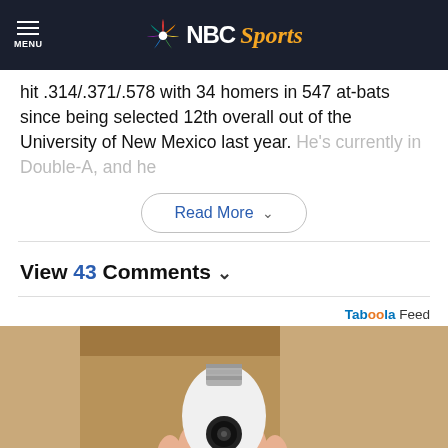NBC Sports
hit .314/.371/.578 with 34 homers in 547 at-bats since being selected 12th overall out of the University of New Mexico last year. He's currently in Double-A, and he
Read More
View 43 Comments
Taboola Feed
[Figure (photo): Hand holding a white smart light bulb camera device against a cardboard background]